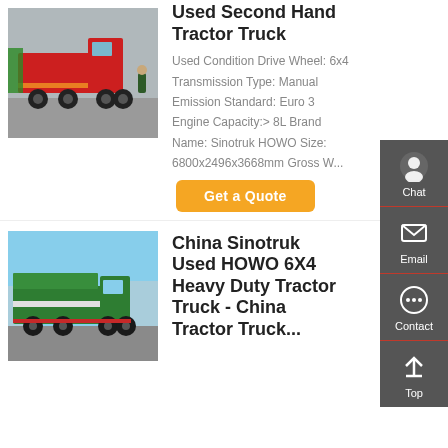[Figure (photo): Red Sinotruk HOWO garbage/special purpose truck parked outdoors]
Sinotruk HOWO 4×4 Used Second Hand Tractor Truck
Used Condition Drive Wheel: 6x4
Transmission Type: Manual
Emission Standard: Euro 3
Engine Capacity:> 8L Brand Name: Sinotruk HOWO Size: 6800x2496x3668mm Gross W...
Get a Quote
[Figure (photo): Green Sinotruk HOWO dump truck parked in yard]
China Sinotruk Used HOWO 6X4 Heavy Duty Tractor Truck - China Tractor Truck...